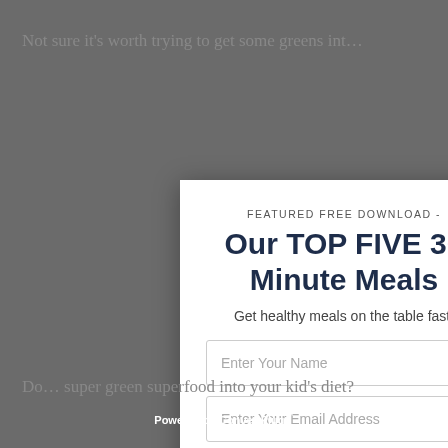Not sure it's worth trying to get some greens int…
[Figure (screenshot): Modal popup overlay with white background featuring a featured free download offer for 'Our TOP FIVE 30 Minute Meals', with subtitle 'Get healthy meals on the table fast!', two input fields for name and email, and a DOWNLOAD NOW button. A close (X) button appears in the top right corner.]
Do… super green superfood into your kid's diet?
Powered by ConvertPlug™